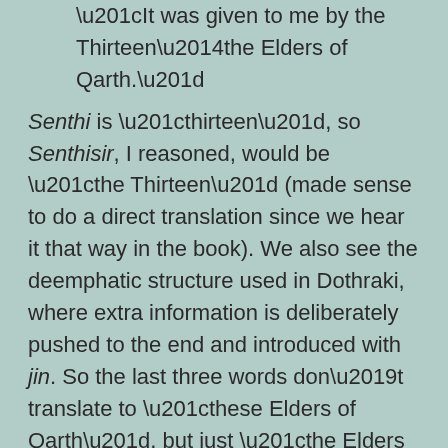“It was given to me by the Thirteen—the Elders of Qarth.”
Senthi is “thirteen”, so Senthisir, I reasoned, would be “the Thirteen” (made sense to do a direct translation since we hear it that way in the book). We also see the deemphatic structure used in Dothraki, where extra information is deliberately pushed to the end and introduced with jin. So the last three words don’t translate to “these Elders of Qarth”, but just “the Elders of Qarth”.
Dany responds with, Zhey Qarth? (a kind of echo question, hence the lack of hash), and